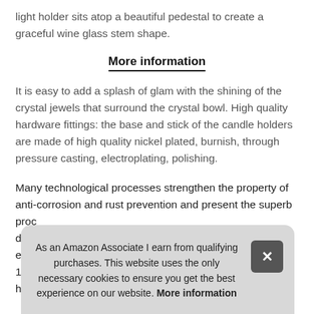light holder sits atop a beautiful pedestal to create a graceful wine glass stem shape.
More information
It is easy to add a splash of glam with the shining of the crystal jewels that surround the crystal bowl. High quality hardware fittings: the base and stick of the candle holders are made of high quality nickel plated, burnish, through pressure casting, electroplating, polishing.
Many technological processes strengthen the property of anti-corrosion and rust prevention and present the superb proc... digm... eleg... 100... holc...
As an Amazon Associate I earn from qualifying purchases. This website uses the only necessary cookies to ensure you get the best experience on our website. More information